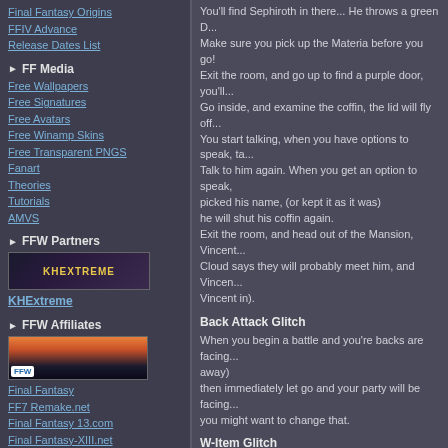Final Fantasy Origins
FFIV Advance
Release Dates List
FF Media
Free Wallpapers
Free Signatures
Free Avatars
Free Winamp Skins
Free Transparent PNGS
Fanart
Theories
Tutorials
AMVS
FFW Partners
[Figure (photo): KHExtreme banner image]
KHExtreme
FFW Affiliates
[Figure (photo): FFW affiliate banner image]
Final Fantasy
FF7 Remake.net
Final Fantasy 13.com
Final Fantasy-XIII.net
Final Fantasy XIII
Final Fantasy 13-2.Japan
Final Fantasy XV Home
You'll find Sephiroth in there... He throws a green D... Make sure you pick up the Materia before you go! Exit the room, and go up to find a purple door, you'll... Go inside, and examine the coffin, the lid will fly off... You start talking, when you have options to speak, ta... Talk to him again. When you get an option to speak, ... picked his name, (or kept it as it was) he will shut his coffin again. Exit the room, and head out of the Mansion, Vincent... Cloud says they will probably meet him, and Vincen... Vincent in).
Back Attack Glitch
When you begin a battle and you're backs are facing ... away) then immediately let go and your party will be facing... you might want to change that.
W-Item Glitch
Note: W-Item can be found in the underground Train... treasure at Bone Village.
This is a glitch, a cheat, that obviously wasn't intende... With the W-Item you can duplicate any item you wis... easy steps. When in a battle, select the Item command with a ch... multiply. Then select a target and the item screen will pop up a... selecting a target, cancel, and you'll notice you'll have one more of the... Now you can carry on selecting and cancelling the it... desires...
Note: ... ng that you have n... Happy now? You've got a dirty cheat which you can...